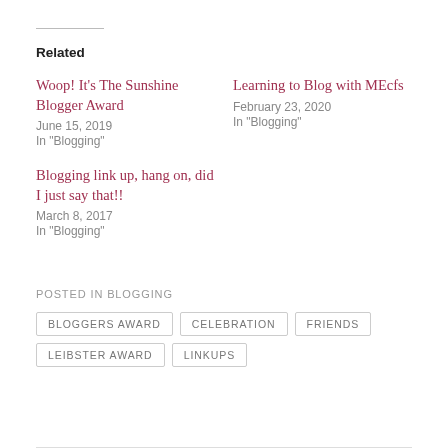Related
Woop! It's The Sunshine Blogger Award
June 15, 2019
In "Blogging"
Learning to Blog with MEcfs
February 23, 2020
In "Blogging"
Blogging link up, hang on, did I just say that!!
March 8, 2017
In "Blogging"
POSTED IN BLOGGING
BLOGGERS AWARD
CELEBRATION
FRIENDS
LEIBSTER AWARD
LINKUPS